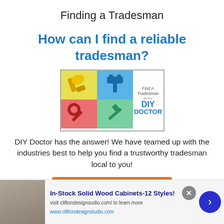Finding a Tradesman
How can I find a reliable tradesman?
[Figure (logo): Find A Tradesman with DIY Doctor logo — a 2x2 grid of colored squares (yellow with paintbrush, blue with hammer, red with wrench, green with screwdriver) beside the text 'Find A Tradesman with DIY DOCTOR']
DIY Doctor has the answer! We have teamed up with the industries best to help you find a trustworthy tradesman local to you!
Find Tradesmen Now
In-Stock Solid Wood Cabinets-12 Styles! visit cliftondesignsudio.com/ to learn more www.cliftondesignstudio.com